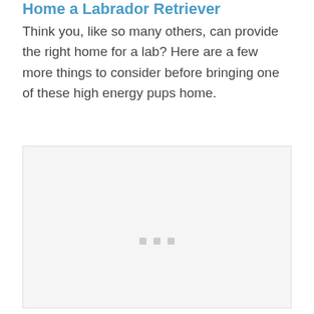Home a Labrador Retriever
Think you, like so many others, can provide the right home for a lab? Here are a few more things to consider before bringing one of these high energy pups home.
[Figure (photo): Placeholder image area with loading dots indicator, light gray background]